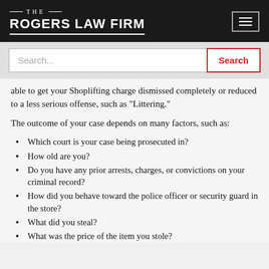THE ROGERS LAW FIRM
able to get your Shoplifting charge dismissed completely or reduced to a less serious offense, such as "Littering."
The outcome of your case depends on many factors, such as:
Which court is your case being prosecuted in?
How old are you?
Do you have any prior arrests, charges, or convictions on your criminal record?
How did you behave toward the police officer or security guard in the store?
What did you steal?
What was the price of the item you stole?